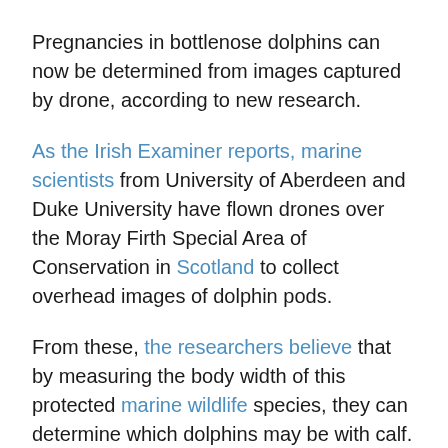Pregnancies in bottlenose dolphins can now be determined from images captured by drone, according to new research.
As the Irish Examiner reports, marine scientists from University of Aberdeen and Duke University have flown drones over the Moray Firth Special Area of Conservation in Scotland to collect overhead images of dolphin pods.
From these, the researchers believe that by measuring the body width of this protected marine wildlife species, they can determine which dolphins may be with calf.
“Previously, we only knew if female bottlenose dolphins were pregnant if they were later seen with a calf,” said Dr Barbara Cheney of the University of Aberdeen.
“As a result, we only knew about successful pregnancies, and didn’t know how many pregnancies failed or how many calves died before we saw them.”